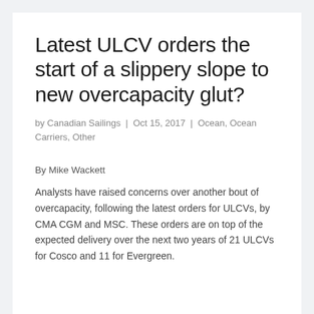Latest ULCV orders the start of a slippery slope to new overcapacity glut?
by Canadian Sailings | Oct 15, 2017 | Ocean, Ocean Carriers, Other
By Mike Wackett
Analysts have raised concerns over another bout of overcapacity, following the latest orders for ULCVs, by CMA CGM and MSC. These orders are on top of the expected delivery over the next two years of 21 ULCVs for Cosco and 11 for Evergreen.